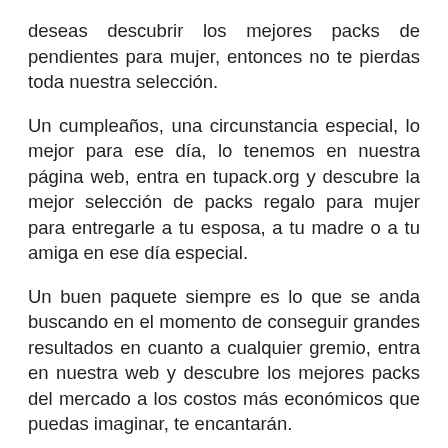deseas descubrir los mejores packs de pendientes para mujer, entonces no te pierdas toda nuestra selección.
Un cumpleaños, una circunstancia especial, lo mejor para ese día, lo tenemos en nuestra página web, entra en tupack.org y descubre la mejor selección de packs regalo para mujer para entregarle a tu esposa, a tu madre o a tu amiga en ese día especial.
Un buen paquete siempre es lo que se anda buscando en el momento de conseguir grandes resultados en cuanto a cualquier gremio, entra en nuestra web y descubre los mejores packs del mercado a los costos más económicos que puedas imaginar, te encantarán.
La mejor y más completa selección de sillas nórdicas, a los precios más locos que te